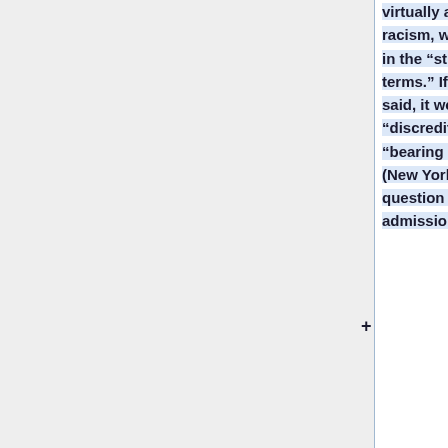virtually accused Colbert of racism, which they condemned in the “strongest possible terms.” If they meant what they said, it would certainly be “discreditable information” with “bearing upon [his] character” (New York) or “a reason to question [his] fitness for admission to